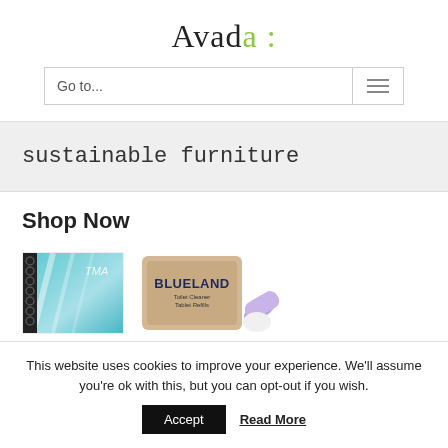Avada :
Go to...
sustainable furniture
Shop Now
[Figure (photo): Two product images: a blue spiral notebook with TMA branding, and a Blueland Toilet Cleaner Tablet Refills package with a purple roll]
This website uses cookies to improve your experience. We'll assume you're ok with this, but you can opt-out if you wish.
Accept
Read More